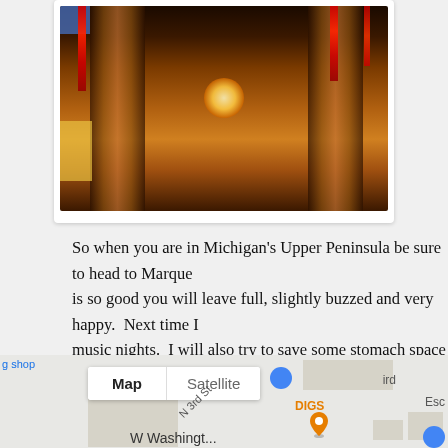[Figure (photo): Interior photo of a dark ornate corridor with red LED lights/decorations at top and warm golden metallic walls, taken looking down the hallway]
So when you are in Michigan's Upper Peninsula be sure to head to Marquette is so good you will leave full, slightly buzzed and very happy.  Next time I music nights.  I will also try to save some stomach space for dessert as they doughnuts.
[Figure (map): Google Maps view showing intersection near DIGS location on W Washington St and N 3rd St in Marquette, Michigan. Map/Satellite toggle buttons visible. Blue location dot and orange pin marker for DIGS.]